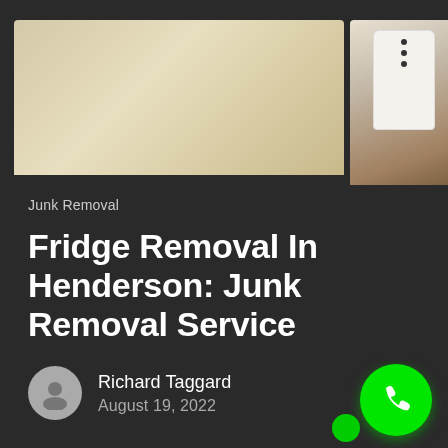[Figure (photo): Top portion of a kitchen scene showing a cream/beige colored refrigerator on the left and a white espresso/coffee machine on a wooden counter on the right, against a white brick wall background.]
Junk Removal
Fridge Removal In Henderson: Junk Removal Service
Richard Taggard
August 19, 2022